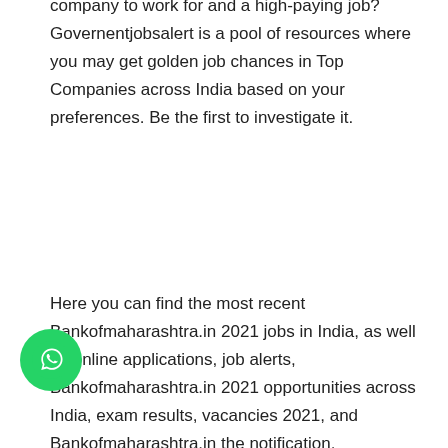company to work for and a high-paying job? Governentjobsalert is a pool of resources where you may get golden job chances in Top Companies across India based on your preferences. Be the first to investigate it.
Here you can find the most recent Bankofmaharashtra.in 2021 jobs in India, as well as online applications, job alerts, Bankofmaharashtra.in 2021 opportunities across India, exam results, vacancies 2021, and Bankofmaharashtra.in the notification.
Apply for the latest Bank of Maharashtra job openings in 2021: Here you will find all the current Bank of Maharashtra job openings. Before applying for the job, please read the offered information carefully, including educational qualifications, application costs, and selection procedures. Through governmentjobsalert.co.in, you can subscribe to Bank of Maharashtra Jobs and receive notifications on Database